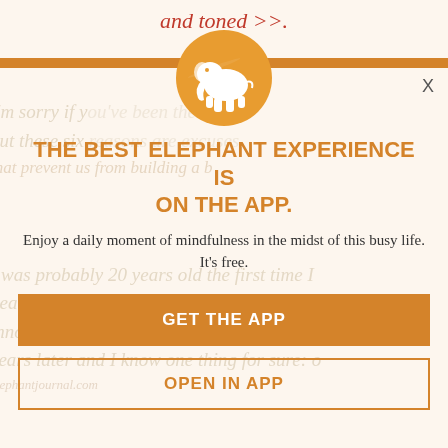and toned >>.
[Figure (logo): Elephant Journal app logo: orange circle with white elephant silhouette]
THE BEST ELEPHANT EXPERIENCE IS ON THE APP.
Enjoy a daily moment of mindfulness in the midst of this busy life. It's free.
GET THE APP
OPEN IN APP